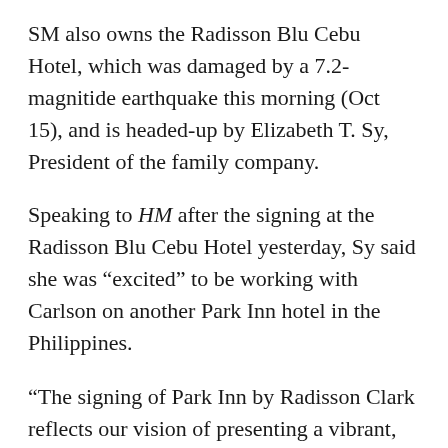SM also owns the Radisson Blu Cebu Hotel, which was damaged by a 7.2-magnitide earthquake this morning (Oct 15), and is headed-up by Elizabeth T. Sy, President of the family company.
Speaking to HM after the signing at the Radisson Blu Cebu Hotel yesterday, Sy said she was “excited” to be working with Carlson on another Park Inn hotel in the Philippines.
“The signing of Park Inn by Radisson Clark reflects our vision of presenting a vibrant, International mid-scale hotel brand alongside SM Mall and SMX Convention and Exhibition Center for mutual benefit in multiple locations,” she said.